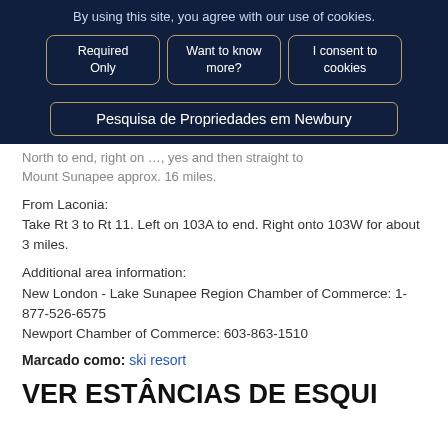By using this site, you agree with our use of cookies.
Required Only | Want to know more? | I consent to cookies
Pesquisa de Propriedades em Newbury
North to end, right on 103, yes and then straight to Mount Sunapee approx. 16 miles.
From Laconia:
Take Rt 3 to Rt 11. Left on 103A to end. Right onto 103W for about 3 miles.
Additional area information:
New London - Lake Sunapee Region Chamber of Commerce: 1-877-526-6575
Newport Chamber of Commerce: 603-863-1510
Marcado como: ski resort
VER ESTÂNCIAS DE ESQUI